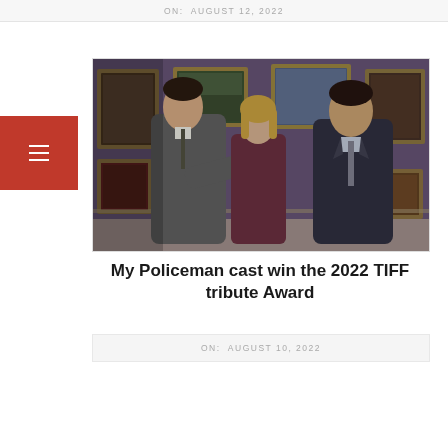ON: AUGUST 12, 2022
[Figure (photo): Film still from My Policeman showing three actors standing in an art gallery with gilded-frame paintings on purple walls. A man in a grey suit gestures with his hand in the foreground, a blonde woman stands in the center, and a man in a dark suit stands on the right.]
My Policeman cast win the 2022 TIFF tribute Award
ON: AUGUST 10, 2022